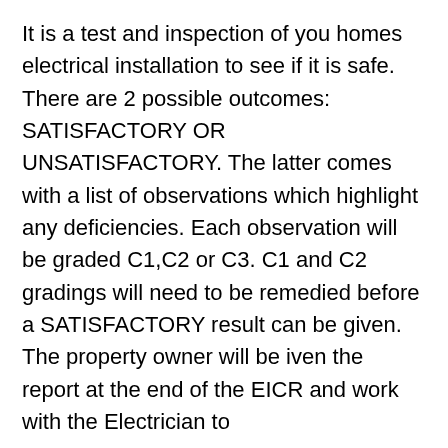It is a test and inspection of you homes electrical installation to see if it is safe. There are 2 possible outcomes: SATISFACTORY OR UNSATISFACTORY. The latter comes with a list of observations which highlight any deficiencies. Each observation will be graded C1,C2 or C3. C1 and C2 gradings will need to be remedied before a SATISFACTORY result can be given. The property owner will be iven the report at the end of the EICR and work with the Electrician to
Preparing for an EICR
An EICR takes several hours and requires the power to be switched on and off frequently. This will result in disruption to services like broadband, WIFI and mean appliances like cookers, electric showers, washing machines will be turned off and